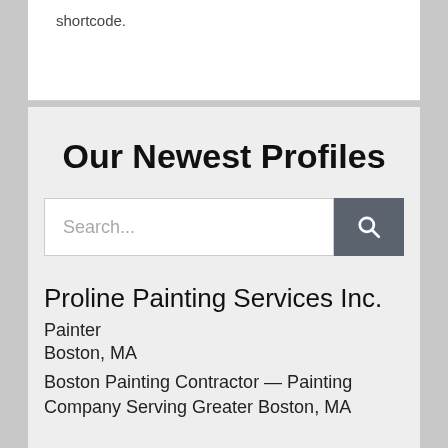shortcode.
Our Newest Profiles
Search...
Proline Painting Services Inc.
Painter
Boston, MA
Boston Painting Contractor — Painting Company Serving Greater Boston, MA